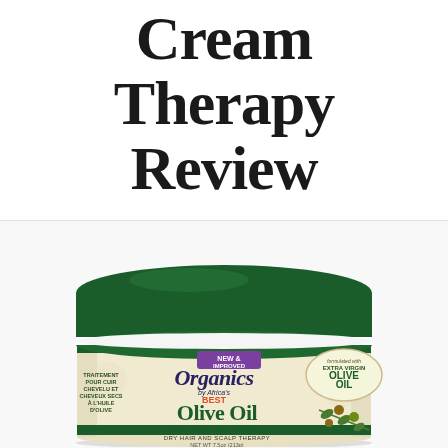Cream Therapy Review
[Figure (photo): A jar of Organics by Africa's Best Olive Oil Cream Therapy product with a dark green lid. Label reads: NEW & IMPROVED, Organics by Africa's Best, Olive Oil, CREAM THERAPY, DRY HAIR AND SCALP THERAPY, NET WT 7.5oz (213g). French text on left: TRAITEMENT POUR CUIR CHEVELU ET CHEVEUX SECS A L'HUILE D'OLIVE. Right side badge: formulated with EXTRA VIRGIN OLIVE OIL.]